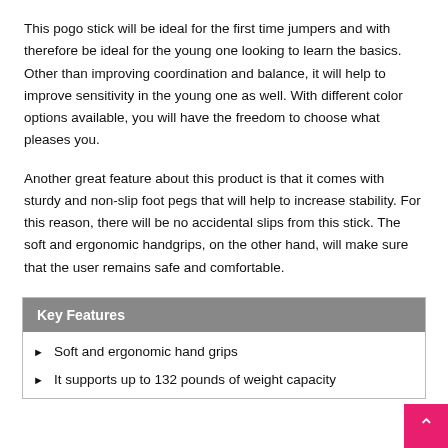This pogo stick will be ideal for the first time jumpers and with therefore be ideal for the young one looking to learn the basics. Other than improving coordination and balance, it will help to improve sensitivity in the young one as well. With different color options available, you will have the freedom to choose what pleases you.
Another great feature about this product is that it comes with sturdy and non-slip foot pegs that will help to increase stability. For this reason, there will be no accidental slips from this stick. The soft and ergonomic handgrips, on the other hand, will make sure that the user remains safe and comfortable.
Key Features
Soft and ergonomic hand grips
It supports up to 132 pounds of weight capacity